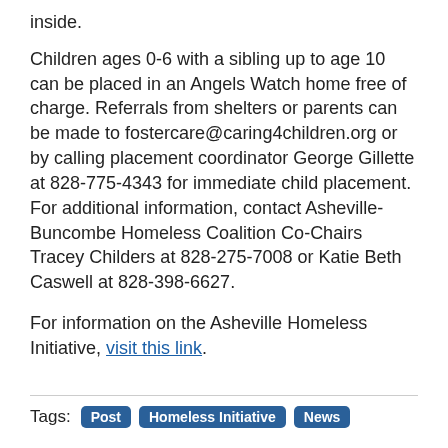inside.
Children ages 0-6 with a sibling up to age 10 can be placed in an Angels Watch home free of charge. Referrals from shelters or parents can be made to fostercare@caring4children.org or by calling placement coordinator George Gillette at 828-775-4343 for immediate child placement. For additional information, contact Asheville-Buncombe Homeless Coalition Co-Chairs Tracey Childers at 828-275-7008 or Katie Beth Caswell at 828-398-6627.
For information on the Asheville Homeless Initiative, visit this link.
Tags: Post  Homeless Initiative  News